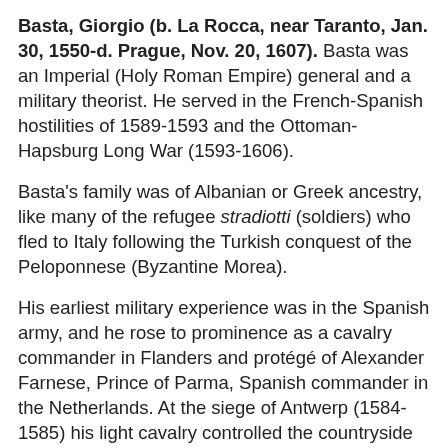Basta, Giorgio (b. La Rocca, near Taranto, Jan. 30, 1550-d. Prague, Nov. 20, 1607). Basta was an Imperial (Holy Roman Empire) general and a military theorist. He served in the French-Spanish hostilities of 1589-1593 and the Ottoman-Hapsburg Long War (1593-1606).
Basta's family was of Albanian or Greek ancestry, like many of the refugee stradiotti (soldiers) who fled to Italy following the Turkish conquest of the Peloponnese (Byzantine Morea).
His earliest military experience was in the Spanish army, and he rose to prominence as a cavalry commander in Flanders and protégé of Alexander Farnese, Prince of Parma, Spanish commander in the Netherlands. At the siege of Antwerp (1584-1585) his light cavalry controlled the countryside and prevented the re-victualling of the city, which was decisive. In 1590, he was appointed commissary-general of Parma's cavalry. He campaigned in support of the Catholic League in northern France (1591-1592) and served under Charles von Mansfeld (1593). He fought against French King Henry IV in Guise (1593) and was promoted to lieutenant general. After the death of his patron, Parma, he entered the service of